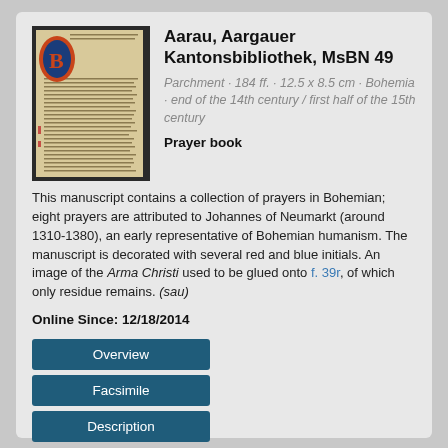Aarau, Aargauer Kantonsbibliothek, MsBN 49
Parchment · 184 ff. · 12.5 x 8.5 cm · Bohemia · end of the 14th century / first half of the 15th century
Prayer book
This manuscript contains a collection of prayers in Bohemian; eight prayers are attributed to Johannes of Neumarkt (around 1310-1380), an early representative of Bohemian humanism. The manuscript is decorated with several red and blue initials. An image of the Arma Christi used to be glued onto f. 39r, of which only residue remains. (sau)
Online Since: 12/18/2014
Overview
Facsimile
Description
[Figure (illustration): Illuminated manuscript page showing a decorated initial with blue and red coloring on parchment background with medieval script text]